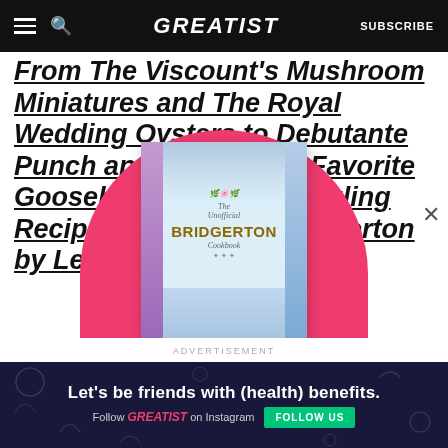GREATIST | SUBSCRIBE
From The Viscount's Mushroom Miniatures and The Royal Wedding Oysters to Debutante Punch and The Duke's Favorite Gooseberry Pie, 100 Dazzling Recipes Inspired by Bridgerton by Lex Taylor
[Figure (photo): Book cover of The Unofficial Bridgerton Cookbook by Lex Taylor, shown in front of a pink semicircle background]
ADVERTISEMENT
Let's be friends with (health) benefits. Follow GREATIST on Instagram  FOLLOW US